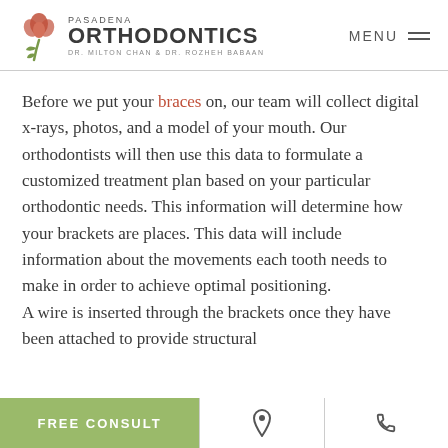Pasadena Orthodontics — Dr. Milton Chan & Dr. Rozheh Babaan | MENU
Before we put your braces on, our team will collect digital x-rays, photos, and a model of your mouth. Our orthodontists will then use this data to formulate a customized treatment plan based on your particular orthodontic needs. This information will determine how your brackets are places. This data will include information about the movements each tooth needs to make in order to achieve optimal positioning.

A wire is inserted through the brackets once they have been attached to provide structural...
FREE CONSULT | Location icon | Phone icon